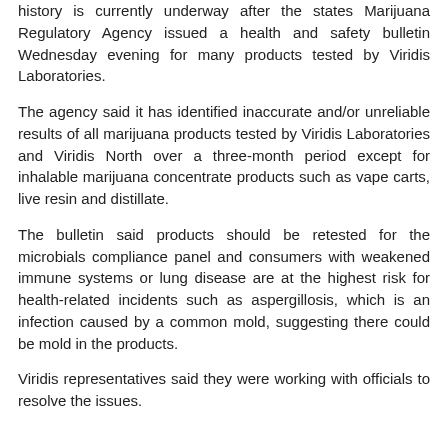history is currently underway after the states Marijuana Regulatory Agency issued a health and safety bulletin Wednesday evening for many products tested by Viridis Laboratories.
The agency said it has identified inaccurate and/or unreliable results of all marijuana products tested by Viridis Laboratories and Viridis North over a three-month period except for inhalable marijuana concentrate products such as vape carts, live resin and distillate.
The bulletin said products should be retested for the microbials compliance panel and consumers with weakened immune systems or lung disease are at the highest risk for health-related incidents such as aspergillosis, which is an infection caused by a common mold, suggesting there could be mold in the products.
Viridis representatives said they were working with officials to resolve the issues.